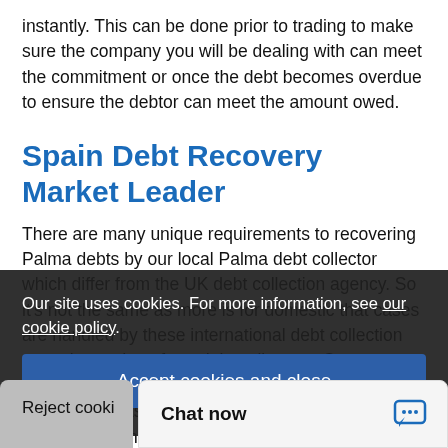instantly. This can be done prior to trading to make sure the company you will be dealing with can meet the commitment or once the debt becomes overdue to ensure the debtor can meet the amount owed.
Spain Debt Recovery Market Leader
There are many unique requirements to recovering Palma debts by our local Palma debt collector which differ from the UK debt collection agency. So it's not the same as more is for domestic that cases are handled by these international debt collection agencies and not from debt collectors. Our professional international debt recovery sets Creditreform aside from the competition. We can recover your international debts for our clients using our specialist Palma debt collector
Our site uses cookies. For more information, see our cookie policy.
Accept cookies and close
Reject cooki...
Chat now